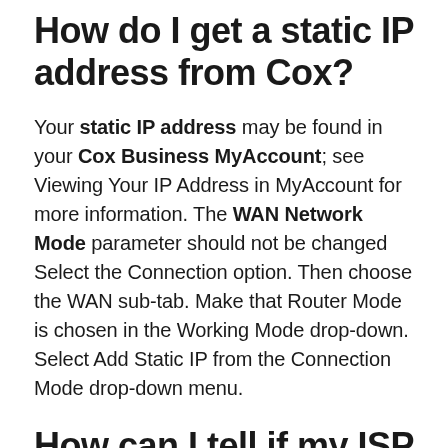How do I get a static IP address from Cox?
Your static IP address may be found in your Cox Business MyAccount; see Viewing Your IP Address in MyAccount for more information. The WAN Network Mode parameter should not be changed Select the Connection option. Then choose the WAN sub-tab. Make that Router Mode is chosen in the Working Mode drop-down. Select Add Static IP from the Connection Mode drop-down menu.
How can I tell if my ISP is